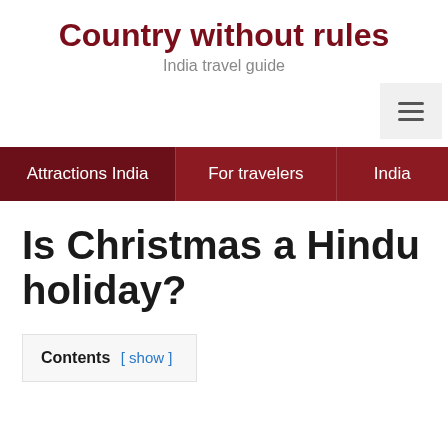Country without rules
India travel guide
Attractions India | For travelers | India
Is Christmas a Hindu holiday?
Contents [ show ]